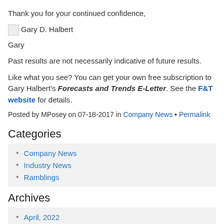Thank you for your continued confidence,
[Figure (illustration): Small broken image icon representing Gary D. Halbert signature image]
Gary
Past results are not necessarily indicative of future results.
Like what you see? You can get your own free subscription to Gary Halbert's Forecasts and Trends E-Letter. See the F&T website for details.
Posted by MPosey on 07-18-2017 in Company News • Permalink
Categories
Company News
Industry News
Ramblings
Archives
April, 2022
May, 2021